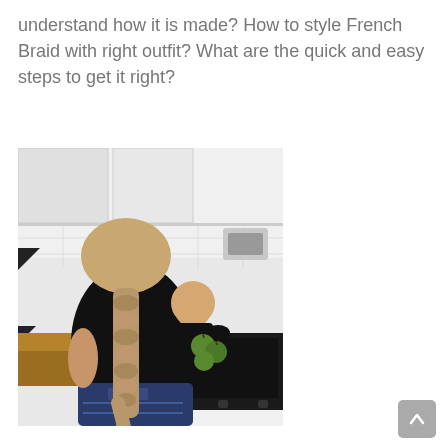understand how it is made? How to style French Braid with right outfit? What are the quick and easy steps to get it right?
[Figure (photo): A woman with a long French braid hairstyle wearing a black top and jeans, holding a baby/toddler in a kitchen setting with white tile walls and kitchen appliances visible. The woman is holding green apples and facing away from the camera.]